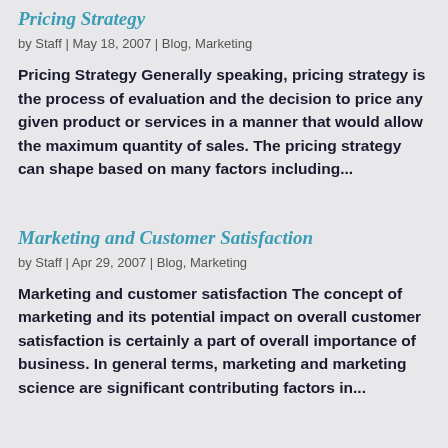Pricing Strategy
by Staff | May 18, 2007 | Blog, Marketing
Pricing Strategy Generally speaking, pricing strategy is the process of evaluation and the decision to price any given product or services in a manner that would allow the maximum quantity of sales. The pricing strategy can shape based on many factors including...
Marketing and Customer Satisfaction
by Staff | Apr 29, 2007 | Blog, Marketing
Marketing and customer satisfaction The concept of marketing and its potential impact on overall customer satisfaction is certainly a part of overall importance of business. In general terms, marketing and marketing science are significant contributing factors in...